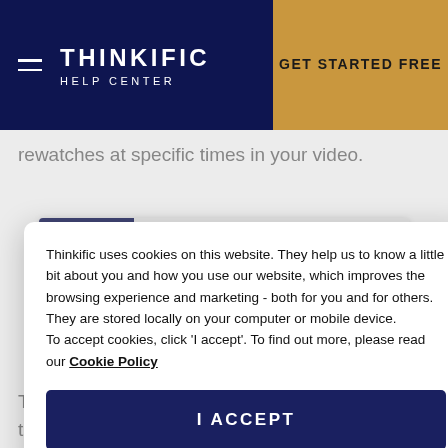THINKIFIC HELP CENTER | GET STARTED FREE
rewatches at specific times in your video.
[Figure (screenshot): Screenshot of Thinkific admin panel showing 'Video details' interface with sidebar menu items including 'Manage Learning Content' and 'Design Your Site']
Thinkific uses cookies on this website. They help us to know a little bit about you and how you use our website, which improves the browsing experience and marketing - both for you and for others. They are stored locally on your computer or mobile device.
To accept cookies, click 'I accept'. To find out more, please read our Cookie Policy
I ACCEPT
This can help you determine specific times throughout your video that are more